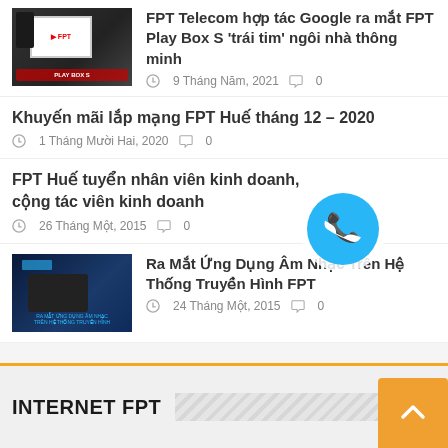[Figure (photo): Thumbnail image showing a screen display related to FPT Telecom and Google partnership for FPT Play Box S]
FPT Telecom hợp tác Google ra mắt FPT Play Box S 'trái tim' ngôi nhà thông minh
9 Tháng Năm, 2021  0
Khuyến mãi lắp mạng FPT Huế tháng 12 – 2020
1 Tháng Mười Hai, 2020  0
FPT Huế tuyển nhân viên kinh doanh, cộng tác viên kinh doanh
26 Tháng Một, 2015  0
[Figure (photo): Thumbnail image showing FPT Play Box device for music application on FPT TV system]
Ra Mắt Ứng Dụng Âm Nhạc Trên Hệ Thống Truyền Hình FPT
24 Tháng Một, 2015  0
[Figure (illustration): Floating phone/call button icon - blue circle with white phone handset]
INTERNET FPT